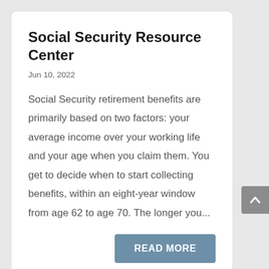Social Security Resource Center
Jun 10, 2022
Social Security retirement benefits are primarily based on two factors: your average income over your working life and your age when you claim them. You get to decide when to start collecting benefits, within an eight-year window from age 62 to age 70. The longer you...
READ MORE